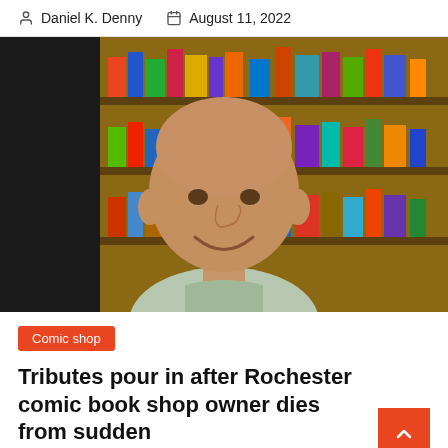Daniel K. Denny   August 11, 2022
[Figure (photo): A bald smiling man standing in front of shelves filled with comic books in a store. He is wearing a light green shirt.]
Comic shop
Tributes pour in after Rochester comic book shop owner dies from sudden